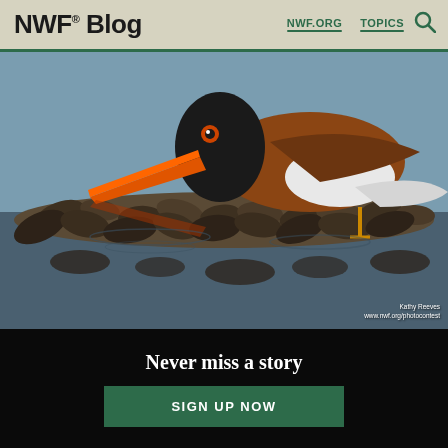NWF® Blog  NWF.ORG  TOPICS
[Figure (photo): An American oystercatcher bird with black head and bright orange beak, feeding among oysters at the water's edge, with its reflection visible in the water below. Photo credit: Kathy Reeves, www.nwf.org/photocontest]
Never miss a story
SIGN UP NOW